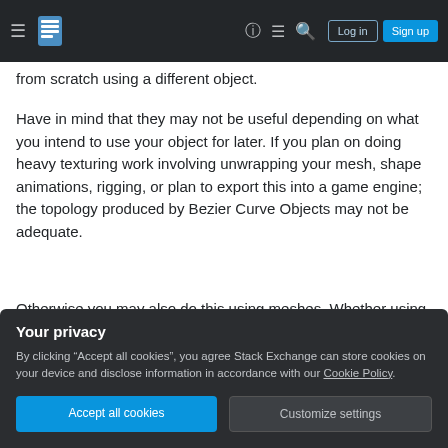Stack Exchange navigation bar with hamburger menu, logo, icons, Log in and Sign up buttons
from scratch using a different object.
Have in mind that they may not be useful depending on what you intend to use your object for later. If you plan on doing heavy texturing work involving unwrapping your mesh, shape animations, rigging, or plan to export this into a game engine; the topology produced by Bezier Curve Objects may not be adequate.
Otherwise you may also do this using meshes. Whether using Booleans (not recommended) or
Your privacy
By clicking “Accept all cookies”, you agree Stack Exchange can store cookies on your device and disclose information in accordance with our Cookie Policy.
Accept all cookies
Customize settings